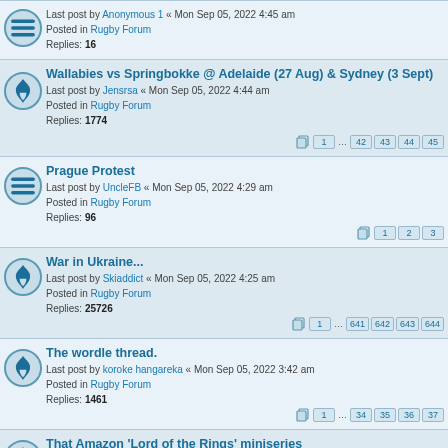Last post by Anonymous 1 « Mon Sep 05, 2022 4:45 am
Posted in Rugby Forum
Replies: 16
Wallabies vs Springbokke @ Adelaide (27 Aug) & Sydney (3 Sept)
Last post by Jensrsa « Mon Sep 05, 2022 4:44 am
Posted in Rugby Forum
Replies: 1774
Pages: 1 ... 42 43 44 45
Prague Protest
Last post by UncleFB « Mon Sep 05, 2022 4:29 am
Posted in Rugby Forum
Replies: 96
Pages: 1 2 3
War in Ukraine...
Last post by Skiaddict « Mon Sep 05, 2022 4:25 am
Posted in Rugby Forum
Replies: 25726
Pages: 1 ... 641 642 643 644
The wordle thread.
Last post by koroke hangareka « Mon Sep 05, 2022 3:42 am
Posted in Rugby Forum
Replies: 1461
Pages: 1 ... 34 35 36 37
That Amazon 'Lord of the Rings' miniseries
Last post by MungoMan « Mon Sep 05, 2022 3:30 am
Posted in Rugby Forum
Replies: 1297
Pages: 1 ... 30 31 32 33
Mikhail Gorbachev
Last post by MungoMan « Mon Sep 05, 2022 3:25 am
Posted in Rugby Forum